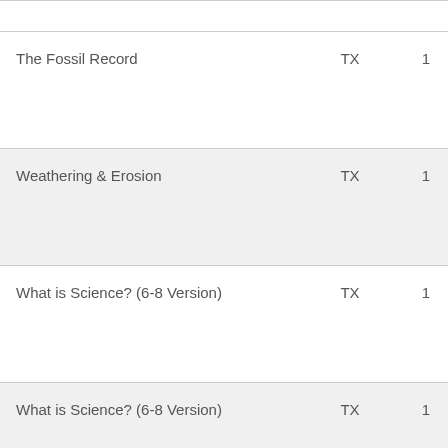| The Fossil Record | TX | 1 |
| Weathering & Erosion | TX | 1 |
| What is Science? (6-8 Version) | TX | 1 |
| What is Science? (6-8 Version) | TX | 1 |
| What is Science? (6-8 Version) | TX | 1 |